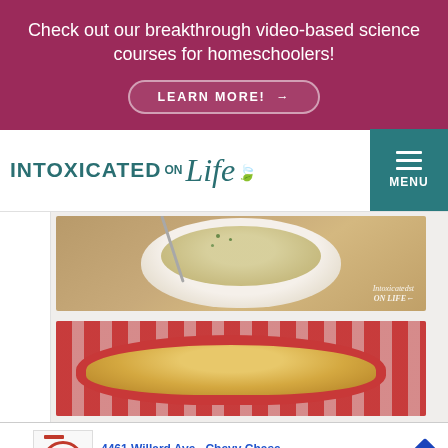Check out our breakthrough video-based science courses for homeschoolers!
LEARN MORE! →
[Figure (logo): Intoxicated on Life website logo with teal text and cursive Life lettering with a green leaf]
MENU
[Figure (photo): A white bowl of creamy soup garnished with herbs, with a spoon, on a wooden background. Watermark reads Intoxicated ON LIFE]
[Figure (photo): A red dish containing a cheesy casserole or baked dish, on a red and white striped cloth background]
4461 Willard Ave., Chevy Chase
Dine-in · Takeout · Delivery